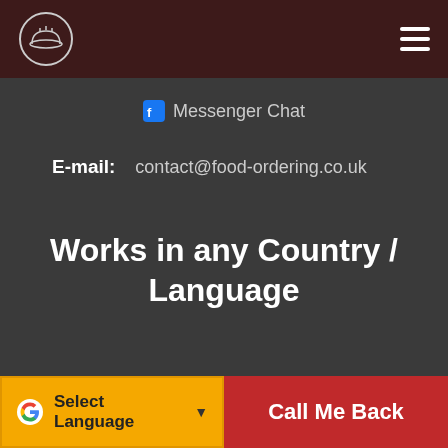[Figure (logo): Circular food ordering logo with dish and cloche icon on dark red navigation bar]
Messenger Chat
E-mail: contact@food-ordering.co.uk
Works in any Country / Language
Select Language
Call Me Back